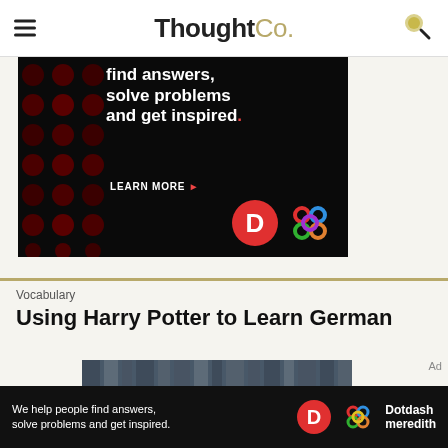ThoughtCo.
[Figure (photo): Advertisement banner with dark background, colorful dots pattern on left side, white bold text reading 'find answers, solve problems and get inspired.' with LEARN MORE button, Dotdash D logo and colorful knot logo]
[Figure (photo): Partial view of a Harry Potter related image with metallic/dark tones]
Vocabulary
Using Harry Potter to Learn German
[Figure (photo): Bottom sticky advertisement banner: 'We help people find answers, solve problems and get inspired.' with Dotdash Meredith logo]